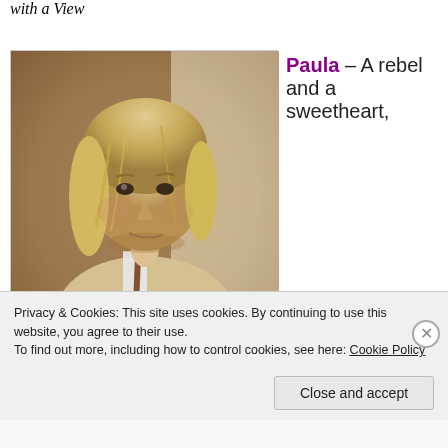with a View
[Figure (photo): Sepia-toned portrait photo of a young man with long blond hair wearing a light suit and tie]
Paula – A rebel and a sweetheart,
Privacy & Cookies: This site uses cookies. By continuing to use this website, you agree to their use.
To find out more, including how to control cookies, see here: Cookie Policy
Close and accept